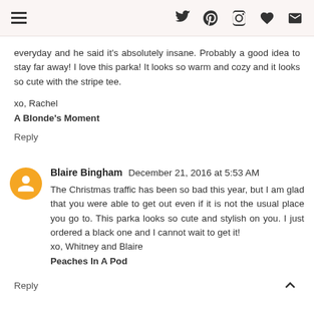[hamburger menu icon] [Twitter icon] [Pinterest icon] [Instagram icon] [Heart icon] [Email icon]
everyday and he said it's absolutely insane. Probably a good idea to stay far away! I love this parka! It looks so warm and cozy and it looks so cute with the stripe tee.
xo, Rachel
A Blonde's Moment
Reply
Blaire Bingham  December 21, 2016 at 5:53 AM
The Christmas traffic has been so bad this year, but I am glad that you were able to get out even if it is not the usual place you go to. This parka looks so cute and stylish on you. I just ordered a black one and I cannot wait to get it!
xo, Whitney and Blaire
Peaches In A Pod
Reply